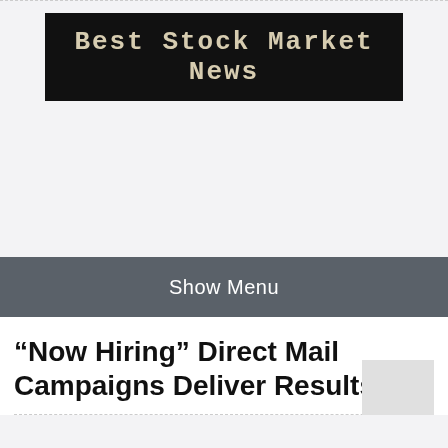[Figure (logo): Best Stock Market News logo — monospaced bold text on dark/black background banner]
Show Menu
“Now Hiring” Direct Mail Campaigns Deliver Results